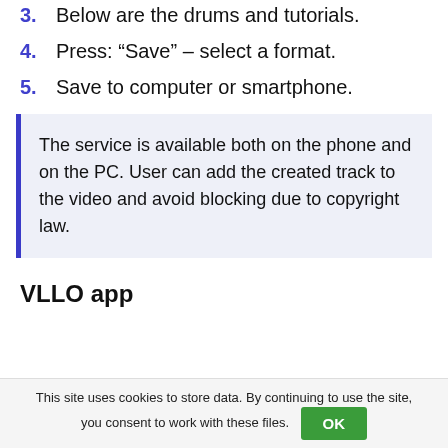3. Below are the drums and tutorials.
4. Press: “Save” – select a format.
5. Save to computer or smartphone.
The service is available both on the phone and on the PC. User can add the created track to the video and avoid blocking due to copyright law.
VLLO app
This site uses cookies to store data. By continuing to use the site, you consent to work with these files.